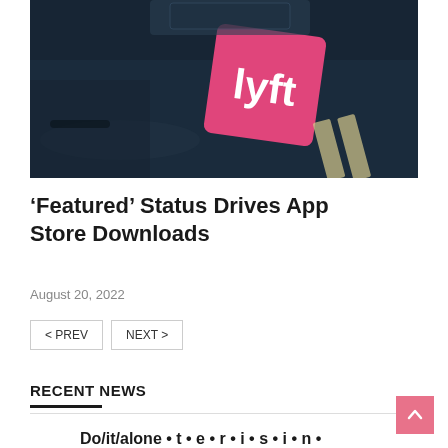[Figure (photo): Close-up photo of a dark car hood with a pink/magenta Lyft logo sign on it, shot outdoors with road markings visible in background.]
‘Featured’ Status Drives App Store Downloads
August 20, 2022
< PREV   NEXT >
RECENT NEWS